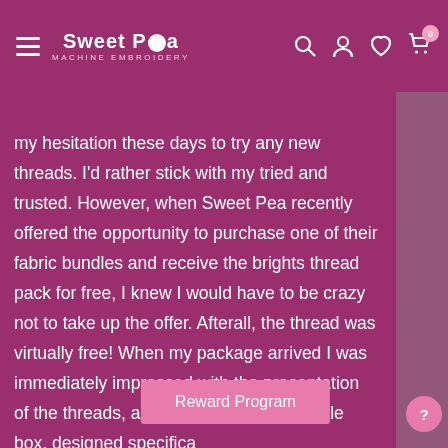Sweet Pea Machine Embroidery — navigation header with logo and icons
my hesitation these days to try any new threads. I'd rather stick with my tried and trusted. However, when Sweet Pea recently offered the opportunity to purchase one of their fabric bundles and receive the brights thread pack for free, I knew I would have to be crazy not to take up the offer. Afterall, the thread was virtually free! When my package arrived I was immediately impressed with the presentation of the threads, all tucked away in their little box, designed specifica... Well, the threads ...
Reward Program